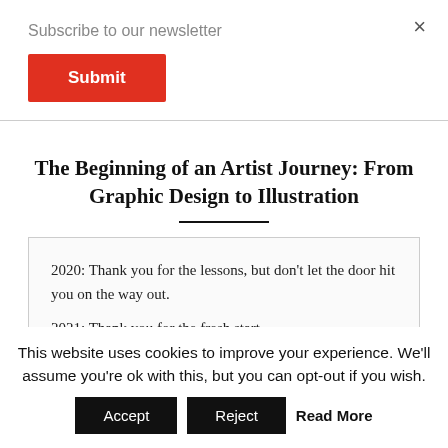Subscribe to our newsletter
Submit
×
The Beginning of an Artist Journey: From Graphic Design to Illustration
2020: Thank you for the lessons, but don't let the door hit you on the way out.

2021: Thank you for the fresh start.
This website uses cookies to improve your experience. We'll assume you're ok with this, but you can opt-out if you wish. Accept Reject Read More